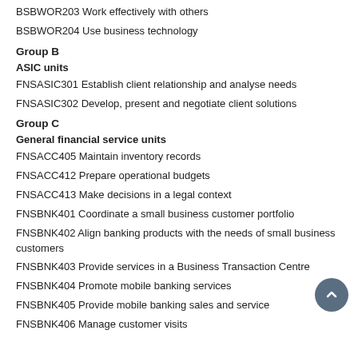BSBWOR203 Work effectively with others
BSBWOR204 Use business technology
Group B
ASIC units
FNSASIC301 Establish client relationship and analyse needs
FNSASIC302 Develop, present and negotiate client solutions
Group C
General financial service units
FNSACC405 Maintain inventory records
FNSACC412 Prepare operational budgets
FNSACC413 Make decisions in a legal context
FNSBNK401 Coordinate a small business customer portfolio
FNSBNK402 Align banking products with the needs of small business customers
FNSBNK403 Provide services in a Business Transaction Centre
FNSBNK404 Promote mobile banking services
FNSBNK405 Provide mobile banking sales and service
FNSBNK406 Manage customer visits